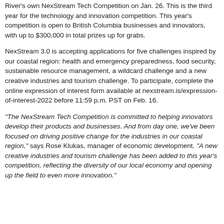River's own NexStream Tech Competition on Jan. 26. This is the third year for the technology and innovation competition. This year's competition is open to British Columbia businesses and innovators, with up to $300,000 in total prizes up for grabs.
NexStream 3.0 is accepting applications for five challenges inspired by our coastal region: health and emergency preparedness, food security, sustainable resource management, a wildcard challenge and a new creative industries and tourism challenge. To participate, complete the online expression of interest form available at nexstream.is/expression-of-interest-2022 before 11:59 p.m. PST on Feb. 16.
“The NexStream Tech Competition is committed to helping innovators develop their products and businesses. And from day one, we’ve been focused on driving positive change for the industries in our coastal region,” says Rose Klukas, manager of economic development. “A new creative industries and tourism challenge has been added to this year’s competition, reflecting the diversity of our local economy and opening up the field to even more innovation.”